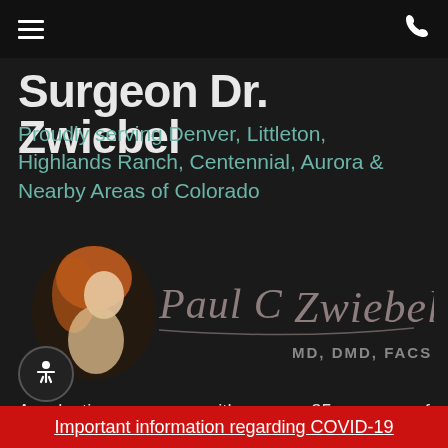Surgeon Dr. Zwiebel
Proudly serving Denver, Littleton, Highlands Ranch, Centennial, Aurora & Nearby Areas of Colorado
[Figure (logo): Signature logo of Paul C Zwiebel MD, DMD, FACS with a classical painting detail of Venus on the left]
A plastic surgeon with over 35 years of experience, Dr. Paul Zwiebel is a well-known and respected leader in aesthetic procedures. Dr. Zwiebel is dedicated to providing outstanding and beautiful
Important information regarding COVID-19